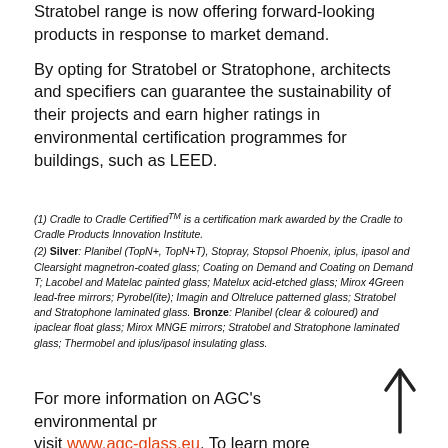Stratobel range is now offering forward-looking products in response to market demand.
By opting for Stratobel or Stratophone, architects and specifiers can guarantee the sustainability of their projects and earn higher ratings in environmental certification programmes for buildings, such as LEED.
(1) Cradle to Cradle Certified™ is a certification mark awarded by the Cradle to Cradle Products Innovation Institute.
(2) Silver: Planibel (TopN+, TopN+T), Stopray, Stopsol Phoenix, iplus, ipasol and Clearsight magnetron-coated glass; Coating on Demand and Coating on Demand T; Lacobel and Matelac painted glass; Matelux acid-etched glass; Mirox 4Green lead-free mirrors; Pyrobel(ite); Imagin and Oltreluce patterned glass; Stratobel and Stratophone laminated glass. Bronze: Planibel (clear & coloured) and ipaclear float glass; Mirox MNGE mirrors; Stratobel and Stratophone laminated glass; Thermobel and iplus/ipasol insulating glass.
For more information on AGC's environmental pr visit www.agc-glass.eu. To learn more about how products can contribute to green building certificates such